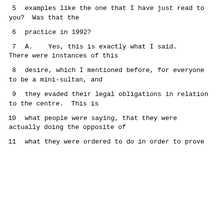5     examples like the one that I have just read to you?  Was that the
6     practice in 1992?
7        A.   Yes, this is exactly what I said. There were instances of this
8     desire, which I mentioned before, for everyone to be a mini-sultan, and
9     they evaded their legal obligations in relation to the centre.  This is
10     what people were saying, that they were actually doing the opposite of
11     what they were ordered to do in order to prove